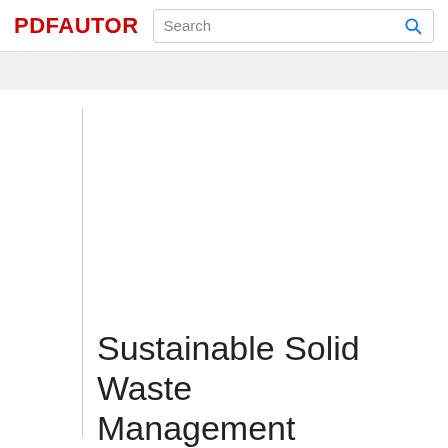PDFAUTOR
Sustainable Solid Waste Management